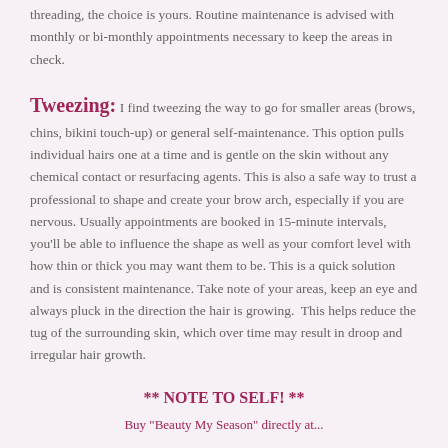threading, the choice is yours. Routine maintenance is advised with monthly or bi-monthly appointments necessary to keep the areas in check.
Tweezing: I find tweezing the way to go for smaller areas (brows, chins, bikini touch-up) or general self-maintenance. This option pulls individual hairs one at a time and is gentle on the skin without any chemical contact or resurfacing agents. This is also a safe way to trust a professional to shape and create your brow arch, especially if you are nervous. Usually appointments are booked in 15-minute intervals, you'll be able to influence the shape as well as your comfort level with how thin or thick you may want them to be. This is a quick solution and is consistent maintenance. Take note of your areas, keep an eye and always pluck in the direction the hair is growing.  This helps reduce the tug of the surrounding skin, which over time may result in droop and irregular hair growth.
** NOTE TO SELF! **
Buy "Beauty My Season" directly at...